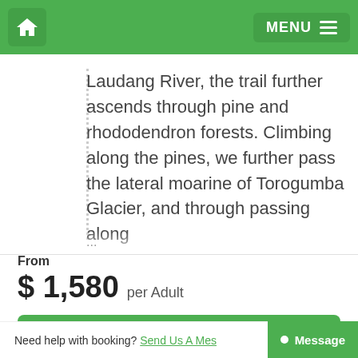Home | MENU
Laudang River, the trail further ascends through pine and rhododendron forests. Climbing along the pines, we further pass the lateral moarine of Torogumba Glacier, and through passing along ...
From
$ 1,580 per Adult
Check Availability
Need help with booking? Send Us A Message